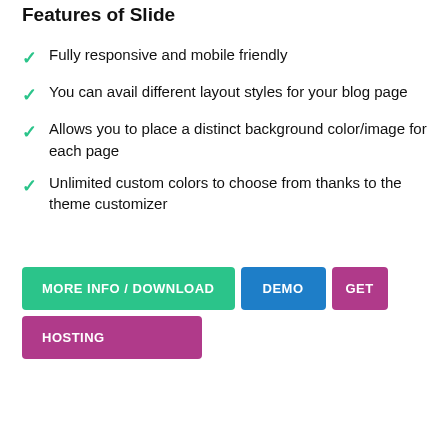Features of Slide
Fully responsive and mobile friendly
You can avail different layout styles for your blog page
Allows you to place a distinct background color/image for each page
Unlimited custom colors to choose from thanks to the theme customizer
[Figure (screenshot): Three call-to-action buttons: MORE INFO / DOWNLOAD (teal), DEMO (blue), GET (purple), and HOSTING (purple) below]
[Figure (screenshot): Notification pill showing 'ignacio purchased Moonlight from Sonaar About 2 days ago', Zample watermark, Messenger button, and browser window bar at bottom]